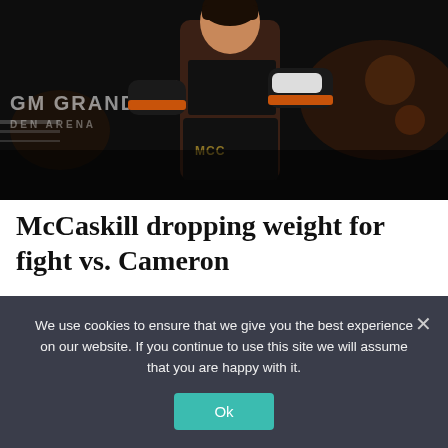[Figure (photo): A female boxer in a black sports bra and black shorts with gold lettering, wearing black boxing gloves with orange accents and white hand wraps, in a fighting stance. In the background the 'MGM Grand Garden Arena' signage is visible. The setting is a boxing arena with dark lighting.]
McCaskill dropping weight for fight vs. Cameron
We use cookies to ensure that we give you the best experience on our website. If you continue to use this site we will assume that you are happy with it.